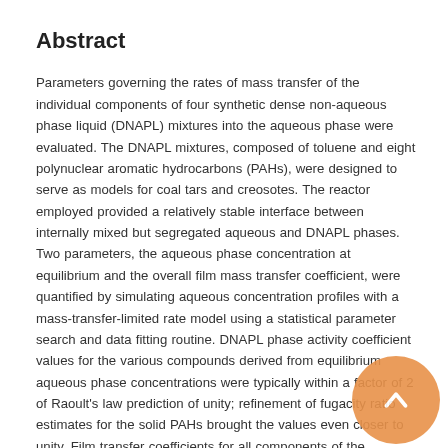Abstract
Parameters governing the rates of mass transfer of the individual components of four synthetic dense non-aqueous phase liquid (DNAPL) mixtures into the aqueous phase were evaluated. The DNAPL mixtures, composed of toluene and eight polynuclear aromatic hydrocarbons (PAHs), were designed to serve as models for coal tars and creosotes. The reactor employed provided a relatively stable interface between internally mixed but segregated aqueous and DNAPL phases. Two parameters, the aqueous phase concentration at equilibrium and the overall film mass transfer coefficient, were quantified by simulating aqueous concentration profiles with a mass-transfer-limited rate model using a statistical parameter search and data fitting routine. DNAPL phase activity coefficient values for the various compounds derived from equilibrium aqueous phase concentrations were typically within a factor of 2 of Raoult's law prediction of unity; refinement of fugacity ratio estimates for the solid PAHs brought the values even closer to unity. Film transfer coefficients for all components of the mixtures studied were similar in magnitude, in the range 0.8-3 x 10⁻³ cm/s. No significant variations of the film transfer coefficient for